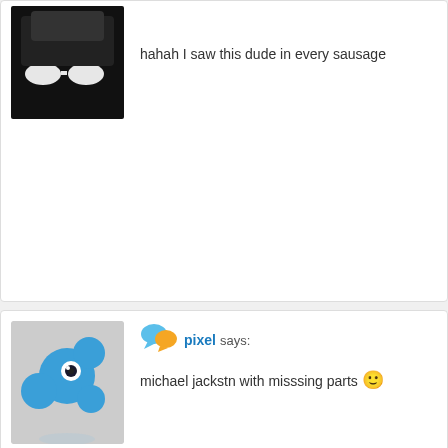[Figure (screenshot): Partial comment block showing a dark avatar image with white glasses and text 'hahah I saw this dude in every sausage']
hahah I saw this dude in every sausage
[Figure (screenshot): Comment block with blue blob character avatar, user 'pixel says:' and comment 'michael jackstn with misssing parts :)']
pixel says:
michael jackstn with misssing parts :)
[Figure (screenshot): Partial comment block showing dark bumpy avatar and user 'RGB says:']
RGB says: